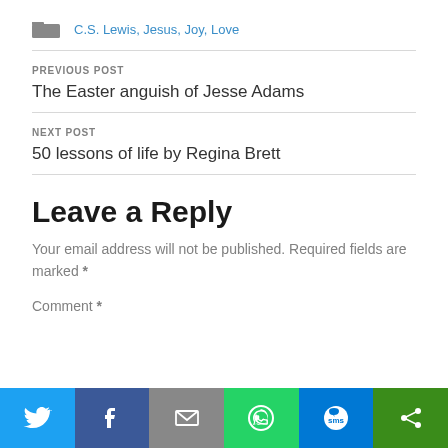C.S. Lewis, Jesus, Joy, Love
PREVIOUS POST
The Easter anguish of Jesse Adams
NEXT POST
50 lessons of life by Regina Brett
Leave a Reply
Your email address will not be published. Required fields are marked *
Comment *
[Figure (infographic): Social sharing toolbar with Twitter, Facebook, Email, WhatsApp, SMS, and Share icons]